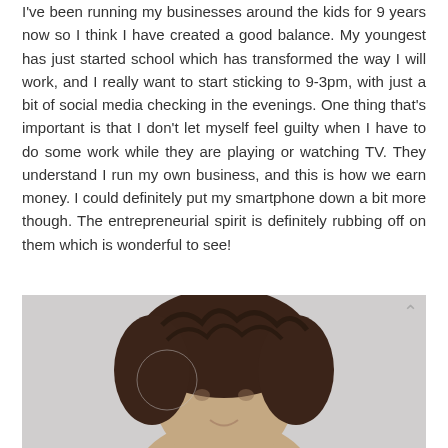I've been running my businesses around the kids for 9 years now so I think I have created a good balance. My youngest has just started school which has transformed the way I will work, and I really want to start sticking to 9-3pm, with just a bit of social media checking in the evenings. One thing that's important is that I don't let myself feel guilty when I have to do some work while they are playing or watching TV. They understand I run my own business, and this is how we earn money. I could definitely put my smartphone down a bit more though. The entrepreneurial spirit is definitely rubbing off on them which is wonderful to see!
[Figure (photo): Portrait photo of a woman with curly dark brown hair against a light grey background, photo cropped at top of head/forehead area.]